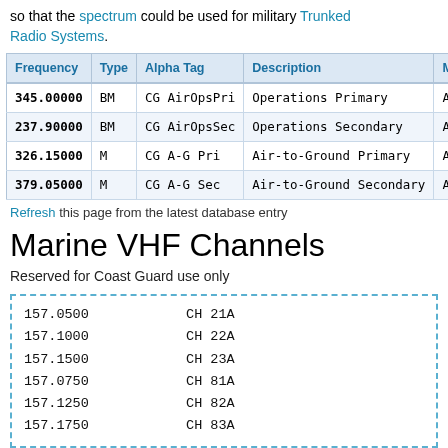so that the spectrum could be used for military Trunked Radio Systems.
| Frequency | Type | Alpha Tag | Description | Mo... |
| --- | --- | --- | --- | --- |
| 345.00000 | BM | CG AirOpsPri | Operations Primary | AM... |
| 237.90000 | BM | CG AirOpsSec | Operations Secondary | AM... |
| 326.15000 | M | CG A-G Pri | Air-to-Ground Primary | AM... |
| 379.05000 | M | CG A-G Sec | Air-to-Ground Secondary | AM... |
Refresh this page from the latest database entry
Marine VHF Channels
Reserved for Coast Guard use only
| Frequency | Channel |
| --- | --- |
| 157.0500 | CH 21A |
| 157.1000 | CH 22A |
| 157.1500 | CH 23A |
| 157.0750 | CH 81A |
| 157.1250 | CH 82A |
| 157.1750 | CH 83A |